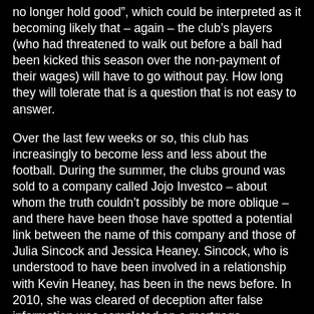no longer hold good", which could be interpreted as it becoming likely that – again – the club's players (who had threatened to walk out before a ball had been kicked this season over the non-payment of their wages) will have to go without pay. How long they will tolerate that is a question that is not easy to answer.
Over the last few weeks or so, this club has increasingly to become less and less about the football. During the summer, the clubs ground was sold to a company called Jojo Investco – about whom the truth couldn't possibly be more oblique – and there have been those have spotted a potential link between the name of this company and those of Julia Sincock and Jessica Heaney. Sincock, who is understood to have been involved in a relationship with Kevin Heaney, has been in the news before. In 2010, she was cleared of deception after false information was completed on a mortgage application for a mortgage which stated that she earned £85,000 a year while her actual salary at the time was £15,000 a year. More recently, she was named as a director of PAFC 2011 Ltd, one of the companies formed in preparation for what turned out to be Kevin Heaneys aborted